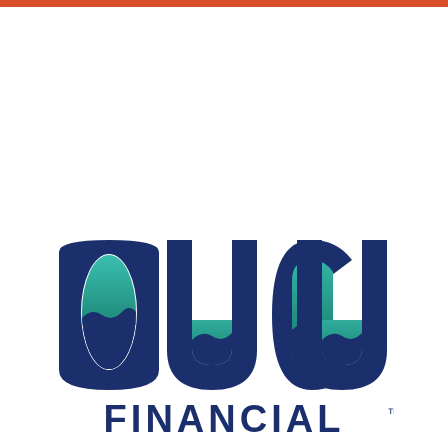[Figure (logo): OUCU Financial logo with large bold letters O U C U in dark navy blue, with a teal-to-dark-blue gradient wave/mountain shape inside the letters, and the word FINANCIAL below in dark navy blue capital letters with a trademark symbol.]